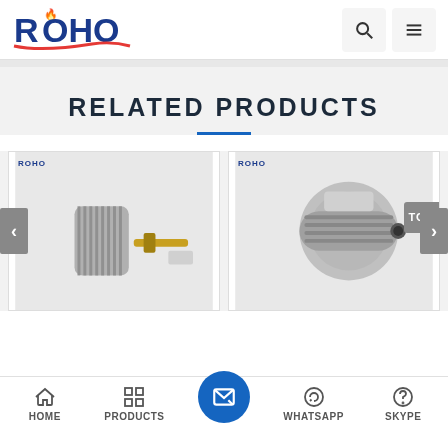[Figure (logo): ROHO company logo with red flame accent and blue text on white header background]
RELATED PRODUCTS
[Figure (photo): Close-up photo of a metallic BNC or similar RF connector disassembled, showing knurled body and gold-plated pin, with ROHO logo watermark]
[Figure (photo): Close-up photo of a silver N-type or similar RF connector assembled, showing threaded coupling nut, with ROHO logo watermark]
HOME   PRODUCTS   WHATSAPP   SKYPE